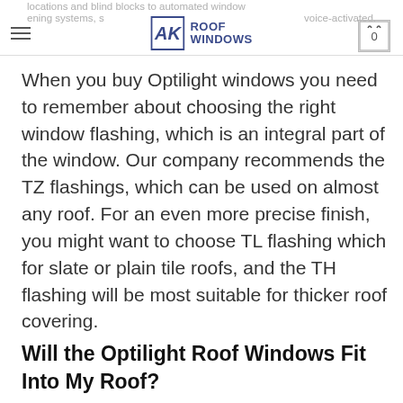locations and blind blocks to automated window opening systems, smart home or voice-activated. AK ROOF WINDOWS 0
When you buy Optilight windows you need to remember about choosing the right window flashing, which is an integral part of the window. Our company recommends the TZ flashings, which can be used on almost any roof. For an even more precise finish, you might want to choose TL flashing which for slate or plain tile roofs, and the TH flashing will be most suitable for thicker roof covering.
Will the Optilight Roof Windows Fit Into My Roof?